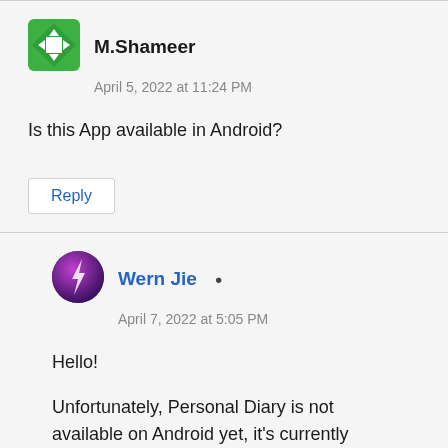[Figure (illustration): Green diamond-shaped avatar icon with a white four-directional arrow symbol for M.Shameer]
M.Shameer
April 5, 2022 at 11:24 PM
Is this App available in Android?
Reply
[Figure (illustration): Circular purple/dark avatar with a stylized white lightning bolt icon for Wern Jie]
Wern Jie
April 7, 2022 at 5:05 PM
Hello!
Unfortunately, Personal Diary is not available on Android yet, it's currently